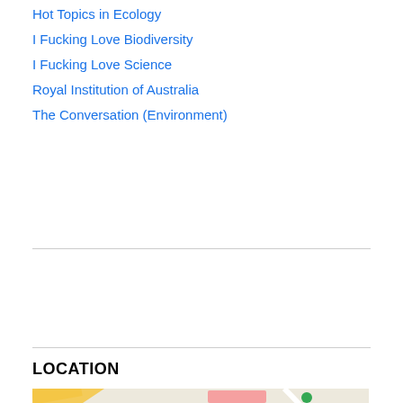Hot Topics in Ecology
I Fucking Love Biodiversity
I Fucking Love Science
Royal Institution of Australia
The Conversation (Environment)
LOCATION
[Figure (map): Google Map showing Flinders University campus with a popup tooltip reading 'Flinders Universi...' and 'View larger map'. The map shows Flinders University label in red, Flinders University Central Library marker, Physical Sciences Building marker, roads including Riverside Dr, Malcolm St, Milton St, and a small satellite image thumbnail in the lower left corner.]